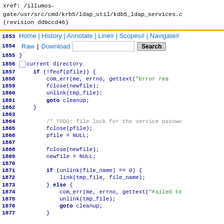xref: /illumos-gate/usr/src/cmd/krb5/ldap_util/kdb5_ldap_services.c (revision dd9ccd46)
Home | History | Annotate | Line# | Scopes# | Navigate#
Raw | Download [search box] Search
1855  }
1856  current directory
1857    if (!feof(pfile)) {
1858        com_err(me, errno, gettext("Error rea...
1859        fclose(newfile);
1860        unlink(tmp_file);
1861        goto cleanup;
1862    }
1863
1864        /* TODO: file lock for the service passwo...
1865        fclose(pfile);
1866        pfile = NULL;
1867
1868        fclose(newfile);
1869        newfile = NULL;
1870
1871        if (unlink(file_name) == 0) {
1872            link(tmp_file, file_name);
1873        } else {
1874            com_err(me, errno, gettext("Failed to...
1875            unlink(tmp_file);
1876            goto cleanup;
1877        }